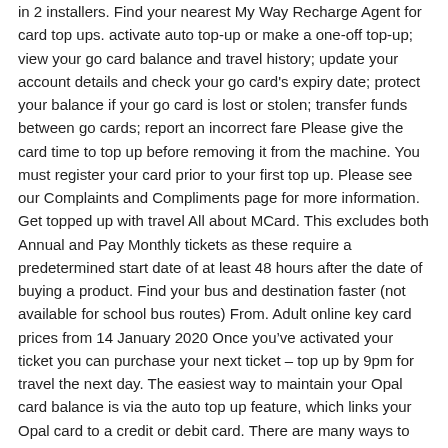in 2 installers. Find your nearest My Way Recharge Agent for card top ups. activate auto top-up or make a one-off top-up; view your go card balance and travel history; update your account details and check your go card's expiry date; protect your balance if your go card is lost or stolen; transfer funds between go cards; report an incorrect fare Please give the card time to top up before removing it from the machine. You must register your card prior to your first top up. Please see our Complaints and Compliments page for more information. Get topped up with travel All about MCard. This excludes both Annual and Pay Monthly tickets as these require a predetermined start date of at least 48 hours after the date of buying a product. Find your bus and destination faster (not available for school bus routes) From. Adult online key card prices from 14 January 2020 Once youâve activated your ticket you can purchase your next ticket â top up by 9pm for travel the next day. The easiest way to maintain your Opal card balance is via the auto top up feature, which links your Opal card to a credit or debit card. There are many ways to top-up your card with Travel Credit and/or Tickets: â¢ Downloading the Leap Top-Up App on your NFC-enabled Android phone to top-up with Travel Credit, buy selected tickets and collect directly from your phone. my account - trentbarton trentbarton uses cookies. The â¬55 Student Travel